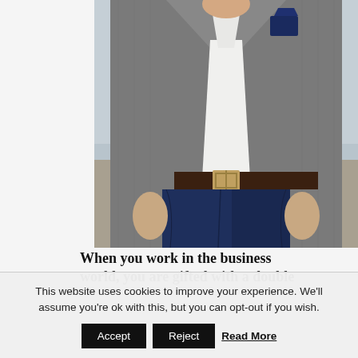[Figure (photo): A man wearing a grey checked blazer over a white shirt, navy blue trousers, and a brown leather belt. Only the torso and lower body are visible, hands in pockets. Outdoor background.]
When you work in the business world, you are gifted with a double
This website uses cookies to improve your experience. We'll assume you're ok with this, but you can opt-out if you wish. Accept Reject Read More